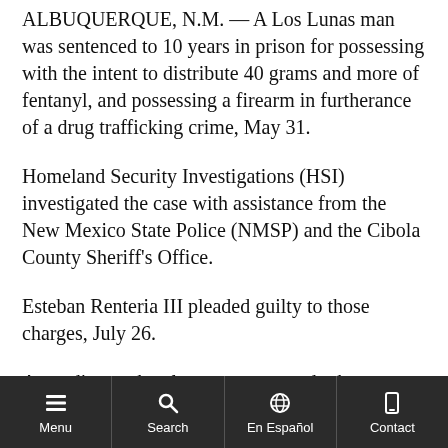ALBUQUERQUE, N.M. — A Los Lunas man was sentenced to 10 years in prison for possessing with the intent to distribute 40 grams and more of fentanyl, and possessing a firearm in furtherance of a drug trafficking crime, May 31.
Homeland Security Investigations (HSI) investigated the case with assistance from the New Mexico State Police (NMSP) and the Cibola County Sheriff's Office.
Esteban Renteria III pleaded guilty to those charges, July 26.
According to the plea agreement and other court records, on Dec. 31, 2020, an NMSP officer observed Renteria driving a vehicle on Interstate...
Menu | Search | En Español | Contact